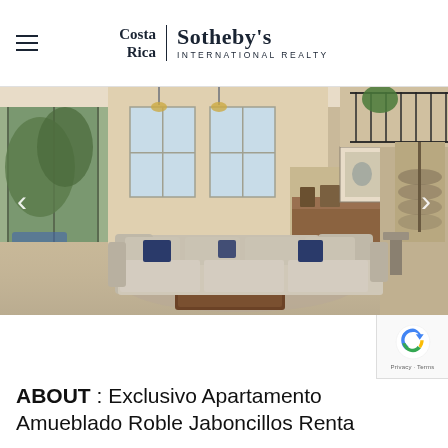Costa Rica | Sotheby's International Realty
[Figure (photo): Interior photo of a luxury apartment living room with a large L-shaped sectional sofa, coffee table, open floor plan with kitchen in background, high ceilings with mezzanine level and spiral staircase visible on the right.]
ABOUT : Exclusivo Apartamento Amueblado Roble Jaboncillos Renta